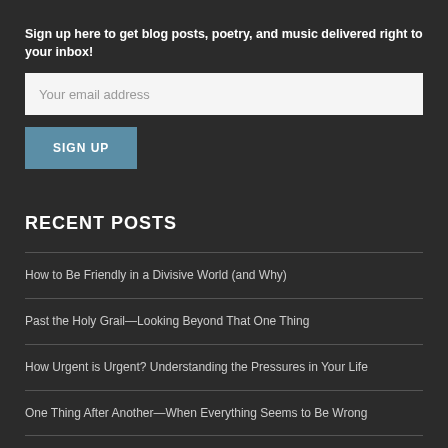Sign up here to get blog posts, poetry, and music delivered right to your inbox!
Your email address
SIGN UP
RECENT POSTS
How to Be Friendly in a Divisive World (and Why)
Past the Holy Grail—Looking Beyond That One Thing
How Urgent is Urgent? Understanding the Pressures in Your Life
One Thing After Another—When Everything Seems to Be Wrong
Irritants and Indignation—Tools to Help You Cope